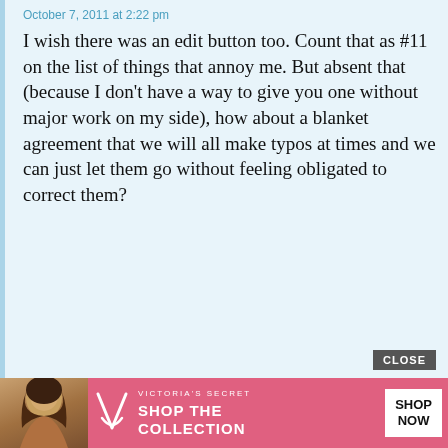October 7, 2011 at 2:22 pm
I wish there was an edit button too. Count that as #11 on the list of things that annoy me. But absent that (because I don't have a way to give you one without major work on my side), how about a blanket agreement that we will all make typos at times and we can just let them go without feeling obligated to correct them?
Anonymous
October 6, 2011 at 1:34 pm
AAM- Thank you so much for this post. This is exactly how I've been feeling lately and it's so nice having that validated. I hope you start feeling better. I'd wish that things would stop annoying you, but I don't think that w stop annoy
[Figure (advertisement): Victoria's Secret advertisement banner with woman photo, VS logo, 'SHOP THE COLLECTION' text, and 'SHOP NOW' button. A 'CLOSE' button appears above the ad.]